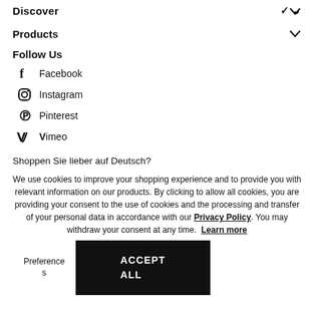Discover
Products
Follow Us
Facebook
Instagram
Pinterest
Vimeo
Shoppen Sie lieber auf Deutsch?
We use cookies to improve your shopping experience and to provide you with relevant information on our products. By clicking to allow all cookies, you are providing your consent to the use of cookies and the processing and transfer of your personal data in accordance with our Privacy Policy. You may withdraw your consent at any time.  Learn more
Preferences
ACCEPT ALL